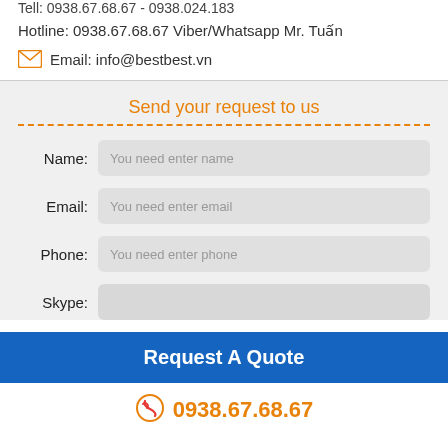Tell: 0938.67.68.67 - 0938.024.183
Hotline: 0938.67.68.67 Viber/Whatsapp Mr. Tuấn
Email: info@bestbest.vn
Send your request to us
Name: You need enter name
Email: You need enter email
Phone: You need enter phone
Skype:
Request A Quote
0938.67.68.67